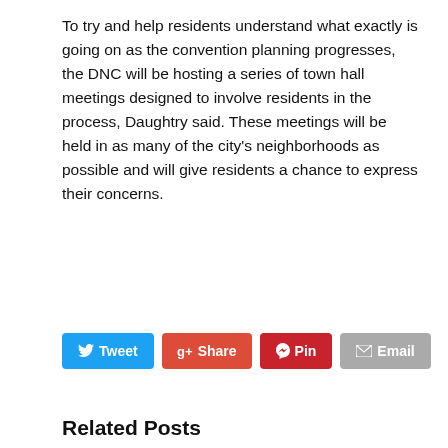To try and help residents understand what exactly is going on as the convention planning progresses, the DNC will be hosting a series of town hall meetings designed to involve residents in the process, Daughtry said. These meetings will be held in as many of the city's neighborhoods as possible and will give residents a chance to express their concerns.
[Figure (other): Social sharing buttons: Tweet (blue), Share (red/Google+), Pin (dark red/Pinterest), Email (grey)]
Related Posts
[Figure (photo): Group of people at a press conference or announcement event, dark indoor setting]
[Figure (photo): Person speaking at a podium with DNC logo in blue background]
DNC Chair announces
EXCLUSIVE: The Rev. Leah